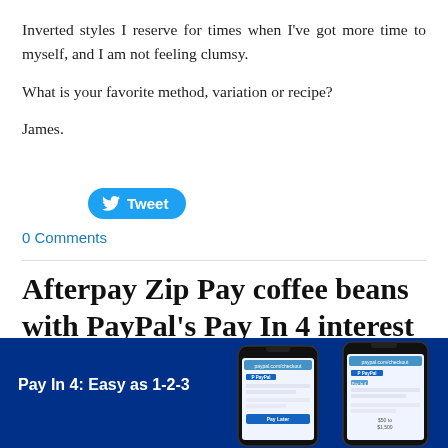Inverted styles I reserve for times when I've got more time to myself, and I am not feeling clumsy.
What is your favorite method, variation or recipe?
James.
[Figure (other): Blue Twitter Tweet button with bird icon]
0 Comments
Afterpay Zip Pay coffee beans with PayPal's Pay In 4 interest free Buy Now Pay Later service
20/8/2021
0 Comments
[Figure (photo): PayPal Pay In 4 promotional banner with smartphones showing PayPal app and text 'Pay In 4: Easy as 1-2-3' on dark blue background]